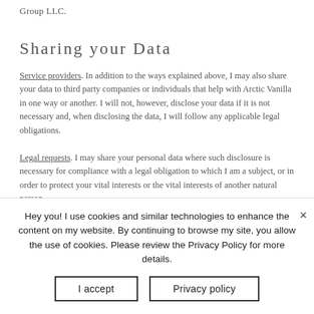Group LLC.
Sharing your Data
Service providers. In addition to the ways explained above, I may also share your data to third party companies or individuals that help with Arctic Vanilla in one way or another. I will not, however, disclose your data if it is not necessary and, when disclosing the data, I will follow any applicable legal obligations.
Legal requests. I may share your personal data where such disclosure is necessary for compliance with a legal obligation to which I am a subject, or in order to protect your vital interests or the vital interests of another natural person
Hey you! I use cookies and similar technologies to enhance the content on my website. By continuing to browse my site, you allow the use of cookies. Please review the Privacy Policy for more details.